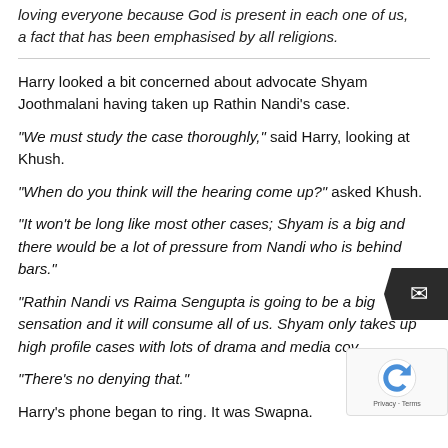loving everyone because God is present in each one of us, a fact that has been emphasised by all religions.
Harry looked a bit concerned about advocate Shyam Joothmalani having taken up Rathin Nandi’s case.
“We must study the case thoroughly,” said Harry, looking at Khush.
“When do you think will the hearing come up?” asked Khush.
“It won’t be long like most other cases; Shyam is a big and there would be a lot of pressure from Nandi who is behind bars.”
“Rathin Nandi vs Raima Sengupta is going to be a big sensation and it will consume all of us. Shyam only takes up high profile cases with lots of drama and media cov…
“There’s no denying that.”
Harry’s phone began to ring. It was Swapna.